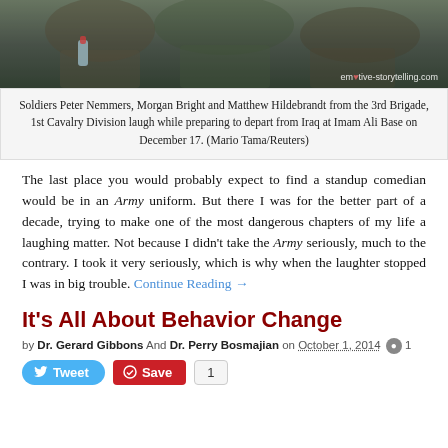[Figure (photo): Soldiers in camouflage uniforms sitting together, one holding a water bottle. Photo watermarked 'emotive-storytelling.com']
Soldiers Peter Nemmers, Morgan Bright and Matthew Hildebrandt from the 3rd Brigade, 1st Cavalry Division laugh while preparing to depart from Iraq at Imam Ali Base on December 17. (Mario Tama/Reuters)
The last place you would probably expect to find a standup comedian would be in an Army uniform. But there I was for the better part of a decade, trying to make one of the most dangerous chapters of my life a laughing matter. Not because I didn't take the Army seriously, much to the contrary. I took it very seriously, which is why when the laughter stopped I was in big trouble. Continue Reading →
It's All About Behavior Change
by Dr. Gerard Gibbons And Dr. Perry Bosmajian on October 1, 2014  1